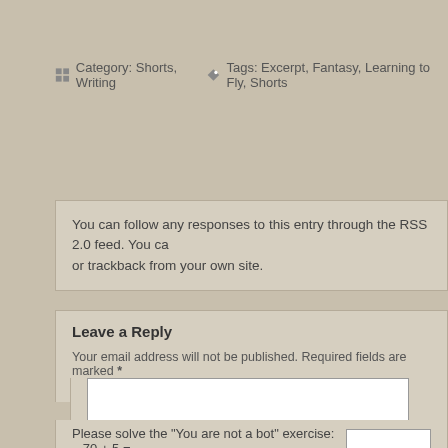Category: Shorts, Writing  Tags: Excerpt, Fantasy, Learning to Fly, Shorts
You can follow any responses to this entry through the RSS 2.0 feed. You can or trackback from your own site.
Leave a Reply
Your email address will not be published. Required fields are marked *
Comment
Please solve the "You are not a bot" exercise:   70 + 5 =
Name *
Email *
Website
Post Comment